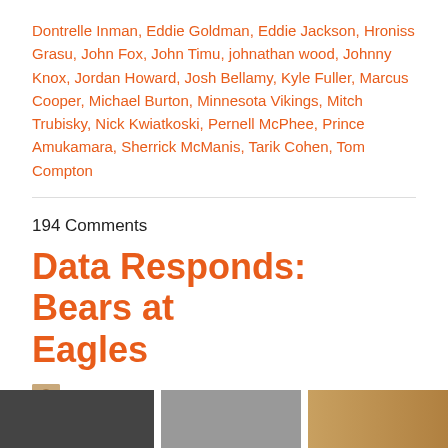Dontrelle Inman, Eddie Goldman, Eddie Jackson, Hroniss Grasu, John Fox, John Timu, johnathan wood, Johnny Knox, Jordan Howard, Josh Bellamy, Kyle Fuller, Marcus Cooper, Michael Burton, Minnesota Vikings, Mitch Trubisky, Nick Kwiatkoski, Pernell McPhee, Prince Amukamara, Sherrick McManis, Tarik Cohen, Tom Compton
194 Comments
Data Responds: Bears at Eagles
Johnathan Wood | November 26th, 2017
[Figure (photo): Partial photo strip showing football game/crowd scene with multiple image panels]